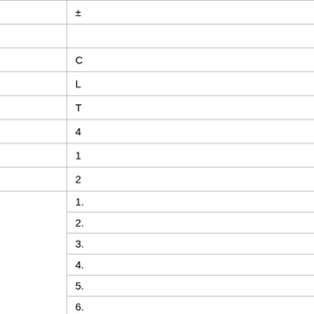| Feature | Specification |
| --- | --- |
| Accuracy | ± |
| Auto Power Off |  |
| Metric / Imperial | C |
| Battery Indicator | L |
| Operating Conditions | T |
| Power Supply | 4 |
| Dimensions | 1 |
| Weight | 2 |
| Standard delivery | 1.
2.
3.
4.
5.
6. |
| Optional accessories | 1.
2. |